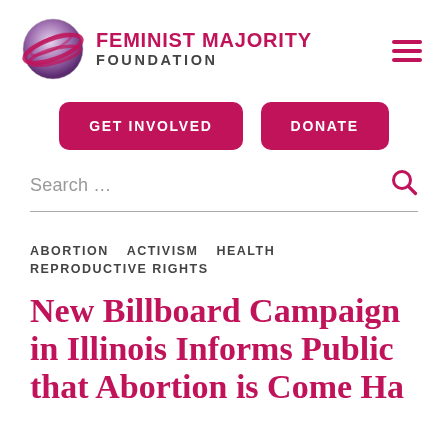Feminist Majority Foundation
[Figure (logo): Feminist Majority Foundation globe logo with pink/purple swirling bands]
GET INVOLVED
DONATE
Search …
ABORTION  ACTIVISM  HEALTH  REPRODUCTIVE RIGHTS
New Billboard Campaign in Illinois Informs Public that Abortion is Come Hav